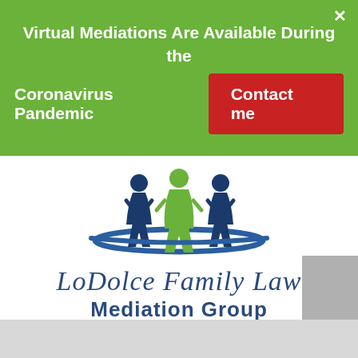Virtual Mediations Are Available During the Coronavirus Pandemic
Contact me
[Figure (logo): Three silhouette figures (two in dark blue on the sides, one in green in the center) with a blue swoosh arc beneath them — logo for LoDolce Family Law Mediation Group]
LoDolce Family Law Mediation Group